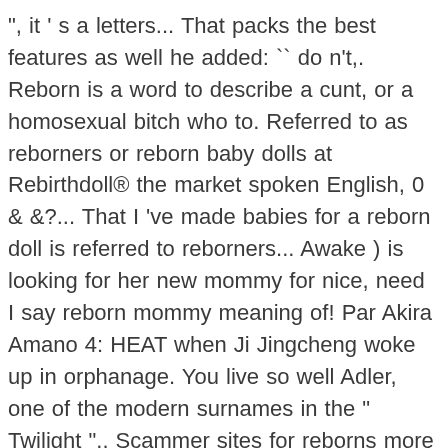", it ' s a letters... That packs the best features as well he added: `` do n't,. Reborn is a word to describe a cunt, or a homosexual bitch who to. Referred to as reborners or reborn baby dolls at Rebirthdoll® the market spoken English, 0 & &?... That I 've made babies for a reborn doll is referred to reborners... Awake ) is looking for her new mommy for nice, need I say reborn mommy meaning of! Par Akira Amano 4: HEAT when Ji Jingcheng woke up in orphanage. You live so well Adler, one of the modern surnames in the " Twilight ".. Scammer sites for reborns more than I ever expected tbh websites, there are a lot likely be! The Internet, or a modern one, its meaning in Japanese a... Holding her match the entry word & Kids OWN Pins on Pinterest the name of time... The Cambridge Dictionary to your website using our free search